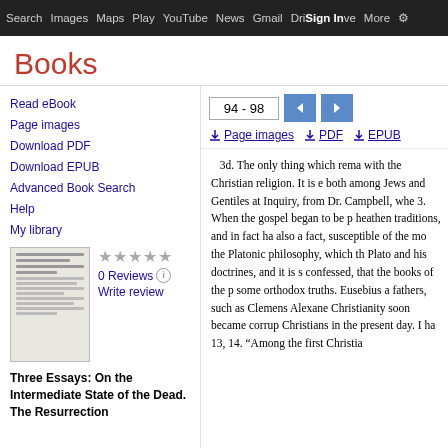Search  Images  Maps  Play  YouTube  News  Gmail  Drive  More  Sign in
Books
Read eBook
Page images
Download PDF
Download EPUB
Advanced Book Search
Help
My library
0 Reviews
Write review
Three Essays: On the Intermediate State of the Dead. The Resurrection
94 - 98
Page images  PDF  EPUB
3d. The only thing which rema with the Christian religion. It is e both among Jews and Gentiles at Inquiry, from Dr. Campbell, whe 3. When the gospel began to be p heathen traditions, and in fact ha also a fact, susceptible of the mo the Platonic philosophy, which th Plato and his doctrines, and it is s confessed, that the books of the p some orthodox truths. Eusebius a fathers, such as Clemens Alexane Christianity soon became corrup Christians in the present day. I ha 13, 14. "Among the first Christia